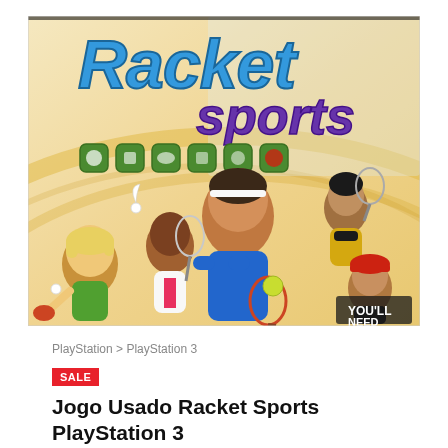[Figure (photo): Product photo of the Racket Sports PlayStation 3 game case. The cover shows animated cartoon characters playing various racket sports (tennis, badminton, table tennis, squash). The title 'Racket sports' appears in large blue and purple stylized text at the top. Animated sport icons appear across the middle. Bottom right corner shows text 'YOU'LL NEED'. The background features warm yellow/orange swoosh patterns.]
PlayStation > PlayStation 3
SALE
Jogo Usado Racket Sports PlayStation 3